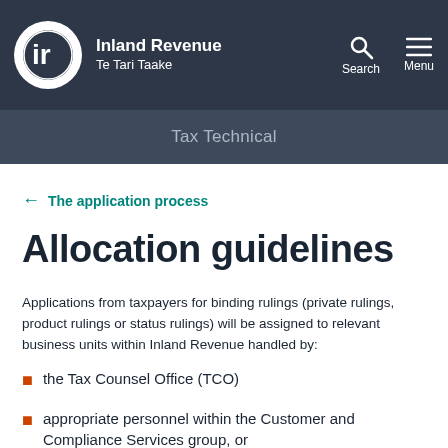Inland Revenue Te Tari Taake | Tax Technical
The application process
Allocation guidelines
Applications from taxpayers for binding rulings (private rulings, product rulings or status rulings) will be assigned to relevant business units within Inland Revenue handled by:
the Tax Counsel Office (TCO)
appropriate personnel within the Customer and Compliance Services group, or
jointly by TCO and the Customer and Compliance